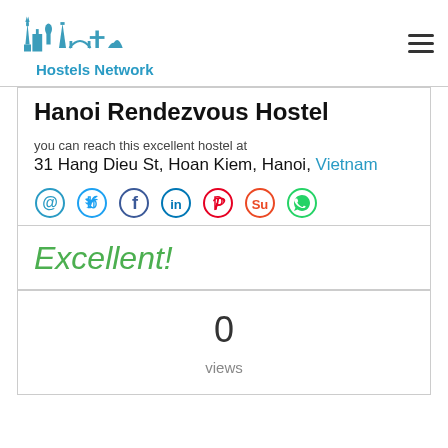Hostels Network
Hanoi Rendezvous Hostel
you can reach this excellent hostel at
31 Hang Dieu St, Hoan Kiem, Hanoi, Vietnam
[Figure (infographic): Row of social media icons: email (@), Twitter, Facebook, LinkedIn, Pinterest, StumbleUpon, WhatsApp]
Excellent!
0
views